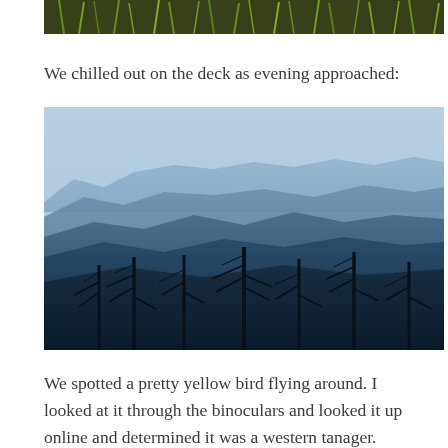[Figure (photo): Top edge of a photo showing green grassy vegetation/reeds against a dark background, partially cropped at the top of the page.]
We chilled out on the deck as evening approached:
[Figure (photo): A panoramic landscape photograph showing layered blue mountain ridges receding into the distance under a light blue hazy sky, with silhouettes of tall bare dead pine trees in the foreground.]
We spotted a pretty yellow bird flying around. I looked at it through the binoculars and looked it up online and determined it was a western tanager. Beautiful! Greg